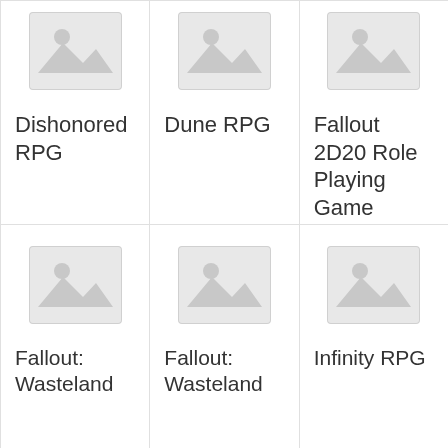[Figure (other): Placeholder image icon for Dishonored RPG product card]
Dishonored RPG
[Figure (other): Placeholder image icon for Dune RPG product card]
Dune RPG
[Figure (other): Placeholder image icon for Fallout 2D20 Role Playing Game product card]
Fallout 2D20 Role Playing Game
[Figure (other): Placeholder image icon for Fallout: Wasteland product card]
Fallout: Wasteland
[Figure (other): Placeholder image icon for Fallout: Wasteland product card]
Fallout: Wasteland
[Figure (other): Placeholder image icon for Infinity RPG product card]
Infinity RPG